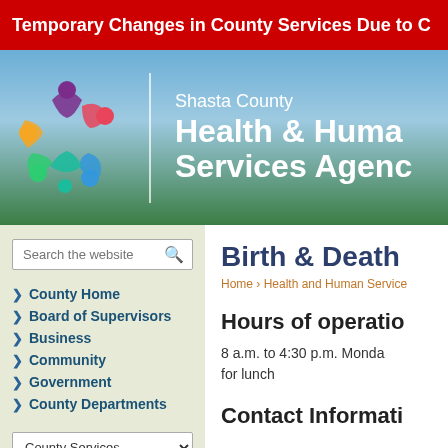Temporary Changes in County Services Due to C
[Figure (logo): Shasta County Health & Human Services Agency header with colorful people-figures logo on left, agency name in white text on right, set against a sky and green field background]
[Figure (screenshot): Search box with placeholder text 'Search the website' and magnifying glass icon]
County Home
Board of Supervisors
Business
Community
Government
County Departments
Birth & Death
Home › Health and Human Service
Hours of operatio
8 a.m. to 4:30 p.m. Monda for lunch
Contact Informati